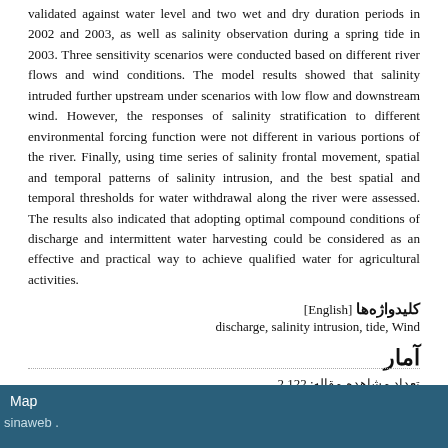validated against water level and two wet and dry duration periods in 2002 and 2003, as well as salinity observation during a spring tide in 2003. Three sensitivity scenarios were conducted based on different river flows and wind conditions. The model results showed that salinity intruded further upstream under scenarios with low flow and downstream wind. However, the responses of salinity stratification to different environmental forcing function were not different in various portions of the river. Finally, using time series of salinity frontal movement, spatial and temporal patterns of salinity intrusion, and the best spatial and temporal thresholds for water withdrawal along the river were assessed. The results also indicated that adopting optimal compound conditions of discharge and intermittent water harvesting could be considered as an effective and practical way to achieve qualified water for agricultural activities.
کلیدواژه‌ها [English]
discharge, salinity intrusion, tide, Wind
آمار
تعداد مشاهده مقاله: 2,122
تعداد دریافت فایل اصل مقاله: 1,067
Map  sinaweb .